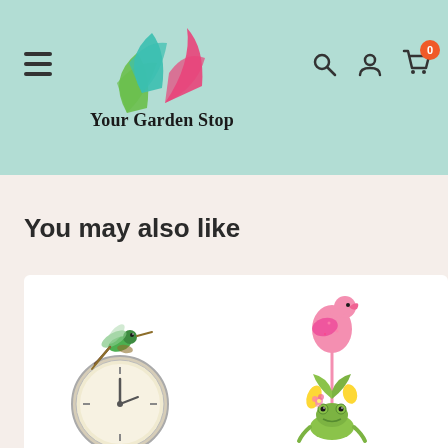Your Garden Stop
You may also like
[Figure (photo): Garden clock with hummingbird decoration on top]
[Figure (photo): Metal flamingo garden stake with frog decoration]